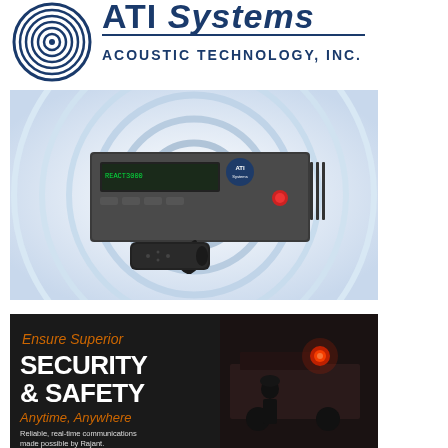[Figure (logo): ATI Systems / Acoustic Technology Inc. logo with concentric circle icon and company name in blue]
[Figure (photo): ATI Systems REACT3000 controller unit with microphone handset, shown against a light blue concentric waves background]
[Figure (photo): Dark background advertisement with text: 'Ensure Superior SECURITY & SAFETY Anytime, Anywhere. Reliable, real-time communications made possible by Rajant.' with image of firefighter and fire truck with red emergency light]